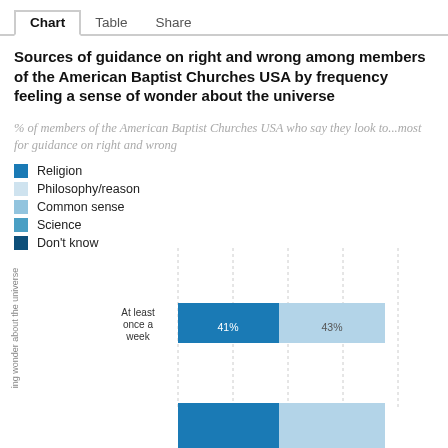Chart  Table  Share
Sources of guidance on right and wrong among members of the American Baptist Churches USA by frequency feeling a sense of wonder about the universe
% of members of the American Baptist Churches USA who say they look to...most for guidance on right and wrong
Religion
Philosophy/reason
Common sense
Science
Don't know
[Figure (stacked-bar-chart): Sources of guidance on right and wrong]